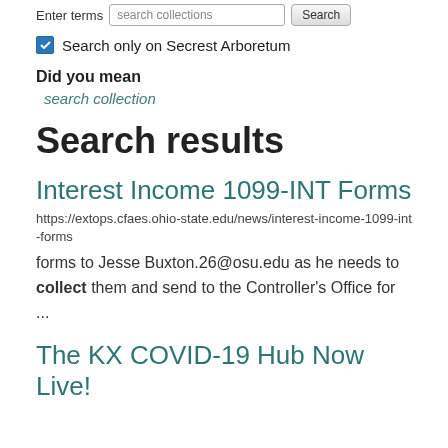Enter terms  search collections  Search
Search only on Secrest Arboretum
Did you mean
search collection
Search results
Interest Income 1099-INT Forms
https://extops.cfaes.ohio-state.edu/news/interest-income-1099-int-forms
forms to Jesse Buxton.26@osu.edu as he needs to collect them and send to the Controller's Office for ...
The KX COVID-19 Hub Now Live!